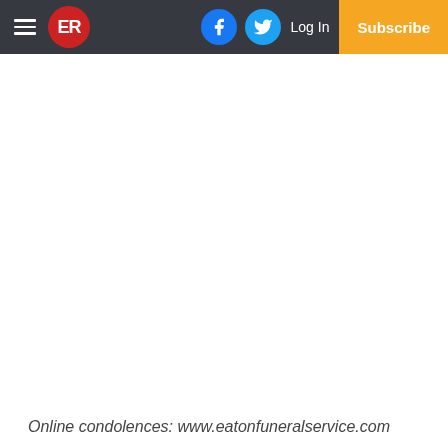ER logo navbar with hamburger menu, Facebook, Twitter, Log In, Subscribe
Online condolences: www.eatonfuneralservice.com